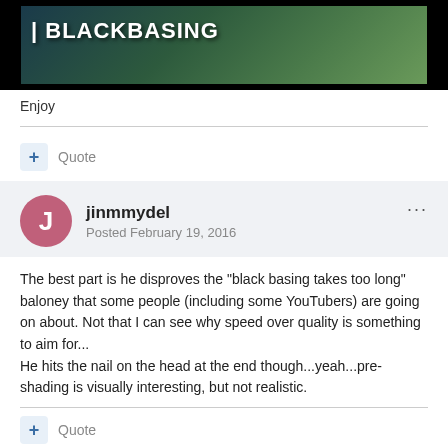[Figure (screenshot): Dark banner image with text BLACKBASING over an aerial landscape photo]
Enjoy
Quote
jinmmydel
Posted February 19, 2016
The best part is he disproves the "black basing takes too long" baloney that some people (including some YouTubers) are going on about. Not that I can see why speed over quality is something to aim for...
He hits the nail on the head at the end though...yeah...pre-shading is visually interesting, but not realistic.
Quote